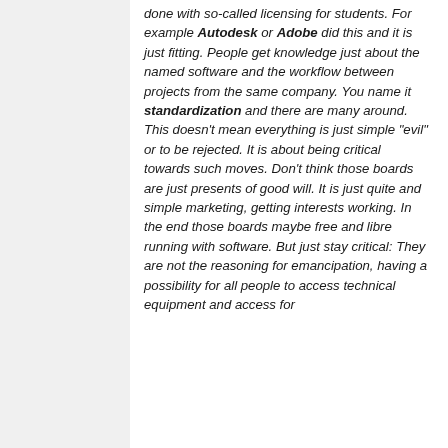done with so-called licensing for students. For example Autodesk or Adobe did this and it is just fitting. People get knowledge just about the named software and the workflow between projects from the same company. You name it standardization and there are many around. This doesn't mean everything is just simple "evil" or to be rejected. It is about being critical towards such moves. Don't think those boards are just presents of good will. It is just quite and simple marketing, getting interests working. In the end those boards maybe free and libre running with software. But just stay critical: They are not the reasoning for emancipation, having a possibility for all people to access technical equipment and access for